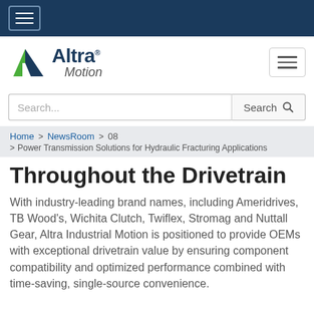Hamburger menu (dark blue top bar)
[Figure (logo): Altra Motion logo with green/dark-blue arrow icon, 'Altra' in bold dark blue, registered trademark symbol, and 'Motion' in italic gray]
Search...
Search
Home > NewsRoom > 08 > Power Transmission Solutions for Hydraulic Fracturing Applications
Throughout the Drivetrain
With industry-leading brand names, including Ameridrives, TB Wood's, Wichita Clutch, Twiflex, Stromag and Nuttall Gear, Altra Industrial Motion is positioned to provide OEMs with exceptional drivetrain value by ensuring component compatibility and optimized performance combined with time-saving, single-source convenience.